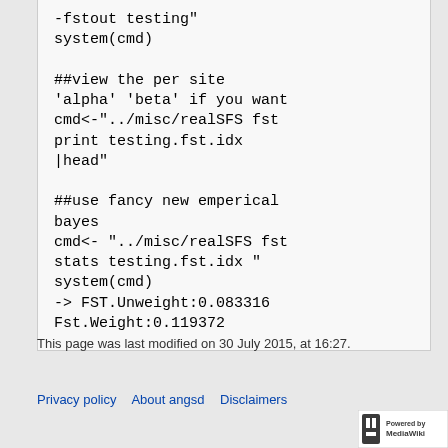-fstout testing"
system(cmd)

##view the per site 'alpha' 'beta' if you want
cmd<-"../misc/realSFS fst print testing.fst.idx |head"

##use fancy new emperical bayes
cmd<- "../misc/realSFS fst stats testing.fst.idx "
system(cmd)
-> FST.Unweight:0.083316 Fst.Weight:0.119372
This page was last modified on 30 July 2015, at 16:27.
Privacy policy  About angsd  Disclaimers